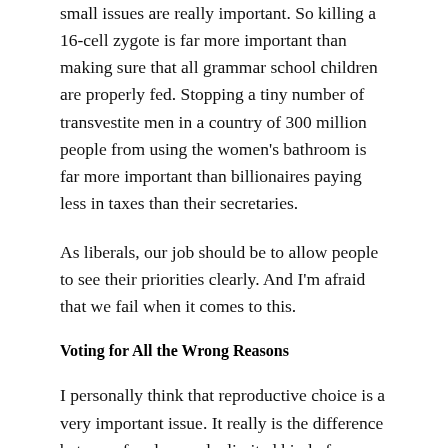small issues are really important. So killing a 16-cell zygote is far more important than making sure that all grammar school children are properly fed. Stopping a tiny number of transvestite men in a country of 300 million people from using the women's bathroom is far more important than billionaires paying less in taxes than their secretaries.
As liberals, our job should be to allow people to see their priorities clearly. And I'm afraid that we fail when it comes to this.
Voting for All the Wrong Reasons
I personally think that reproductive choice is a very important issue. It really is the difference between freedom and a limited kind of slavery. But as should be noted that abortion is